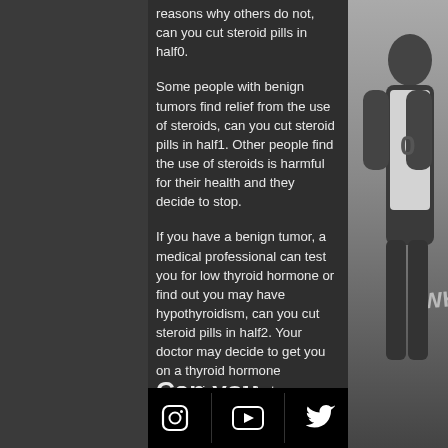reasons why others do not, can you cut steroid pills in half0.
Some people with benign tumors find relief from the use of steroids, can you cut steroid pills in half1. Other people find the use of steroids is harmful for their health and they decide to stop.
If you have a benign tumor, a medical professional can test you for low thyroid hormone or find out you may have hypothyroidism, can you cut steroid pills in half2. Your doctor may decide to get you on a thyroid hormone medication and start treatment. Most often thyroid hormone is done with a thyroid scan or the use of an oral thyroid hormone test.
Can you crush
[Figure (photo): Black and white photo of a basketball player in Hawks jersey looking upward]
Instagram | YouTube | Twitter social media icons